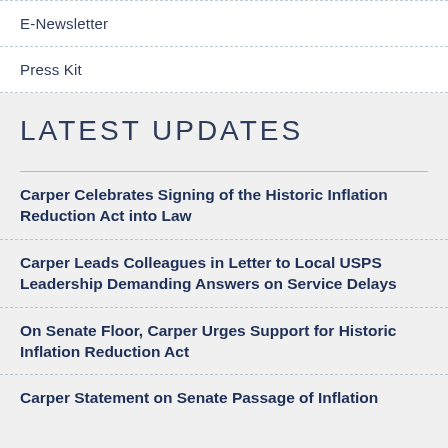E-Newsletter
Press Kit
LATEST UPDATES
Carper Celebrates Signing of the Historic Inflation Reduction Act into Law
Carper Leads Colleagues in Letter to Local USPS Leadership Demanding Answers on Service Delays
On Senate Floor, Carper Urges Support for Historic Inflation Reduction Act
Carper Statement on Senate Passage of Inflation